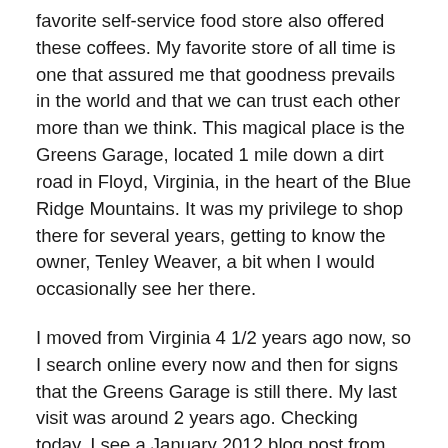favorite self-service food store also offered these coffees. My favorite store of all time is one that assured me that goodness prevails in the world and that we can trust each other more than we think. This magical place is the Greens Garage, located 1 mile down a dirt road in Floyd, Virginia, in the heart of the Blue Ridge Mountains. It was my privilege to shop there for several years, getting to know the owner, Tenley Weaver, a bit when I would occasionally see her there.
I moved from Virginia 4 1/2 years ago now, so I search online every now and then for signs that the Greens Garage is still there. My last visit was around 2 years ago. Checking today, I see a January 2012 blog post from another fan, Jes of the food blog, Eating Appalachia. Check out Jes's blog for some great pictures of the inside of the Greens Garage... and the recipe for spaghetti